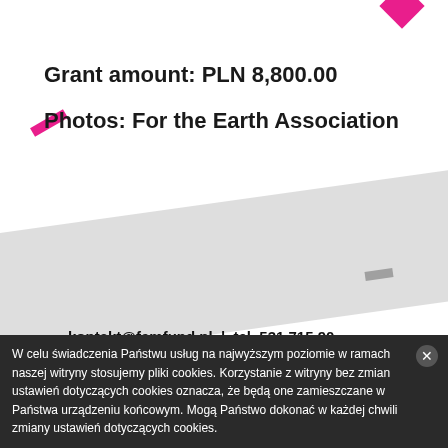Grant amount: PLN 8,800.00
Photos: For the Earth Association
kontakt@femfund.pl | tel. 531 715 90…
Wspólna 61/102, 00-687 Warszawa
NIP: 5272834934 | KRS: 000071482
Programowanie: Michał Sepioło / FixMyPage, Piotr Chojnacki | P
projekt graficzny: Marianna Wybieralska | Zdjęcia: .kolektyw
W celu świadczenia Państwu usług na najwyższym poziomie w ramach naszej witryny stosujemy pliki cookies. Korzystanie z witryny bez zmian ustawień dotyczących cookies oznacza, że będą one zamieszczane w Państwa urządzeniu końcowym. Mogą Państwo dokonać w każdej chwili zmiany ustawień dotyczących cookies.